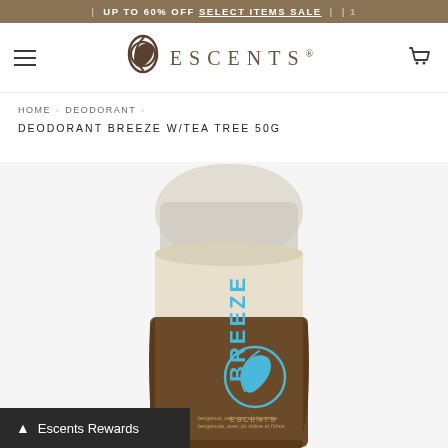UP TO 60% OFF SELECT ITEMS SALE
[Figure (logo): Escents brand logo with circular leaf icon and ESCENTS text]
HOME › DEODORANT ›
DEODORANT BREEZE W/TEA TREE 50G
[Figure (photo): Escents Breeze Natural Deodorant with Tea Tree, 50g stick deodorant in a brown labeled container with blue BREEZE text and Escents logo]
Escents Rewards